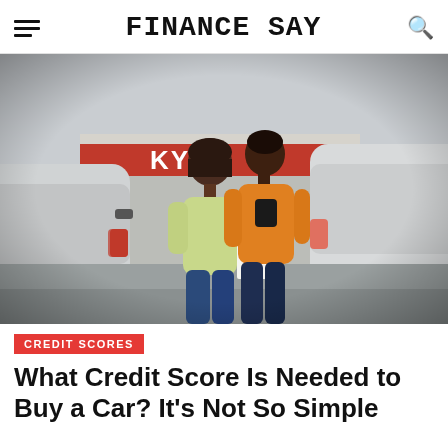FINANCE SAY
[Figure (photo): A couple (woman in light green sweater holding papers, man in orange hoodie) walking between cars at an outdoor car dealership lot, with a red and white dealership sign visible in the background.]
CREDIT SCORES
What Credit Score Is Needed to Buy a Car? It’s Not So Simple